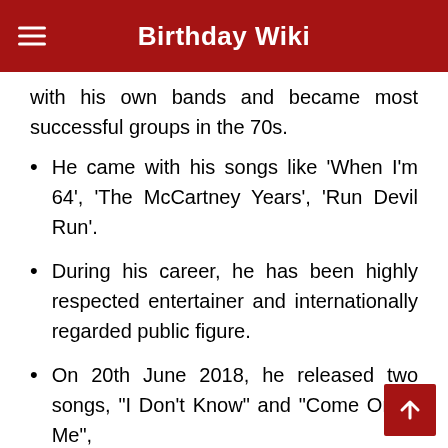Birthday Wiki
with his own bands and became most successful groups in the 70s.
He came with his songs like ‘When I’m 64’, ‘The McCartney Years’, ‘Run Devil Run’.
During his career, he has been highly respected entertainer and internationally regarded public figure.
On 20th June 2018, he released two songs, "I Don't Know" and "Come On to Me", his album Egypt Station, which was released